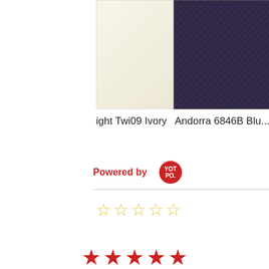[Figure (photo): Product image of ight Twi09 Ivory rug - cream/ivory colored rug]
[Figure (photo): Product image of Andorra 6846B Blu... - dark blue patterned rug]
[Figure (photo): Product image of Ariana II 180L1 - grey/green patterned rug]
ight Twi09 Ivory  Andorra 6846B Blu...  Ariana II 180L1
[Figure (logo): Yotpo logo - red circular badge with YOT PO. text]
Powered by
[Figure (other): 5 empty/outline star rating icons in yellow/gold color]
[Figure (other): 5 filled red star rating icons]